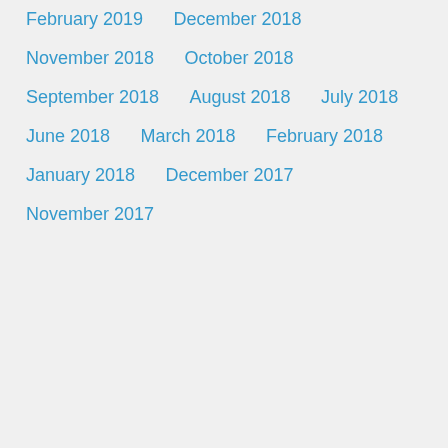February 2019
December 2018
November 2018
October 2018
September 2018
August 2018
July 2018
June 2018
March 2018
February 2018
January 2018
December 2017
November 2017